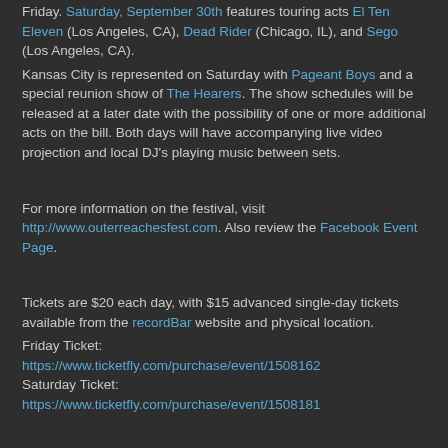Friday. Saturday, September 30th features touring acts El Ten Eleven (Los Angeles, CA), Dead Rider (Chicago, IL), and Sego (Los Angeles, CA).
Kansas City is represented on Saturday with Pageant Boys and a special reunion show of The Hearers. The show schedules will be released at a later date with the possibility of one or more additional acts on the bill. Both days will have accompanying live video projection and local DJ's playing music between sets.
For more information on the festival, visit http://www.outerreachesfest.com. Also review the Facebook Event Page.
Tickets are $20 each day, with $15 advanced single-day tickets available from the recordBar website and physical location.
Friday Ticket:
https://www.ticketfly.com/purchase/event/1508162
Saturday Ticket:
https://www.ticketfly.com/purchase/event/1508181